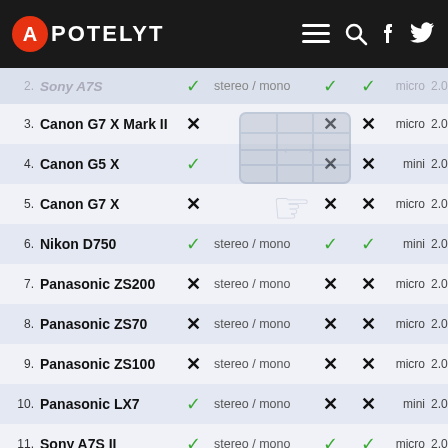APOTELYT
| # | Camera | Flip screen | Microphone | Headphone | Remote | USB |  |
| --- | --- | --- | --- | --- | --- | --- | --- |
| 2. | Sony A7S | ✓ | stereo / mono | ✓ | ✓ | micro | 2.0 |
| 3. | Canon G7 X Mark II | ✗ |  | ✗ | ✗ | micro | 2.0 |
| 4. | Canon G5 X | ✓ |  | ✗ | ✗ | mini | 2.0 |
| 5. | Canon G7 X | ✗ |  | ✗ | ✗ | micro | 2.0 |
| 6. | Nikon D750 | ✓ | stereo / mono | ✓ | ✓ | mini | 2.0 |
| 7. | Panasonic ZS200 | ✗ | stereo / mono | ✗ | ✗ | micro | 2.0 |
| 8. | Panasonic ZS70 | ✗ | stereo / mono | ✗ | ✗ | micro | 2.0 |
| 9. | Panasonic ZS100 | ✗ | stereo / mono | ✗ | ✗ | micro | 2.0 |
| 10. | Panasonic LX7 | ✓ | stereo / mono | ✗ | ✗ | mini | 2.0 |
| 11. | Sony A7S II | ✓ | stereo / mono | ✓ | ✓ | micro | 2.0 |
| 12. | Sony RX100 IV | ✗ | stereo / mono | ✗ | ✗ | micro | 2.0 |
| 13. | Sony RX100 III | ✗ | stereo / mono | ✗ | ✗ | micro | 2.0 |